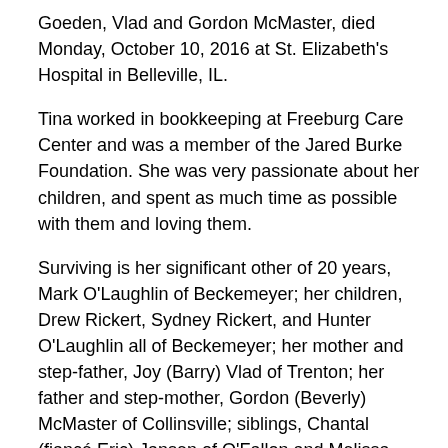Goeden, Vlad and Gordon McMaster, died Monday, October 10, 2016 at St. Elizabeth's Hospital in Belleville, IL.
Tina worked in bookkeeping at Freeburg Care Center and was a member of the Jared Burke Foundation. She was very passionate about her children, and spent as much time as possible with them and loving them.
Surviving is her significant other of 20 years, Mark O'Laughlin of Beckemeyer; her children, Drew Rickert, Sydney Rickert, and Hunter O'Laughlin all of Beckemeyer; her mother and step-father, Joy (Barry) Vlad of Trenton; her father and step-mother, Gordon (Beverly) McMaster of Collinsville; siblings, Chantal (fiancé Eric) Jansen of O'Fallon and Melissa McMaster of Pittsburg, PA; mother-in-law, Debbie O'Laughlin of Trenton; sisters-in-law and brothers-in-law, Michelle (Steve) Hrebec of Alhambra and Kristine (Jason) Gall of